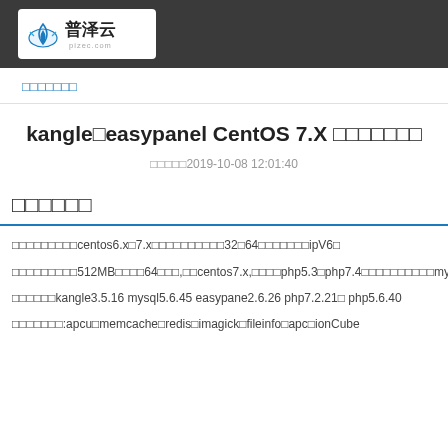[Figure (logo): 普泽云 logo with cloud/wifi icon and Chinese text, white background on dark grey header bar]
□□□□□□□
kangle□easypanel CentOS 7.X □□□□□□□
□□□□□2019-10-08 12:01:40
□□□□□□
□□□□□□□□□centos6.x□7.x□□□□□□□□□□32□64□□□□□□□ipV6□
□□□□□□□□□512MB□□□□64□□□,□□centos7.x,□□□□php5.3□php7.4□□□□□□□□□□mysql□□□
□□□□□□kangle3.5.16 mysql5.6.45 easypane2.6.26 php7.2.21□ php5.6.40
□□□□□□□:apcu□memcache□redis□imagick□fileinfo□apc□ionCube